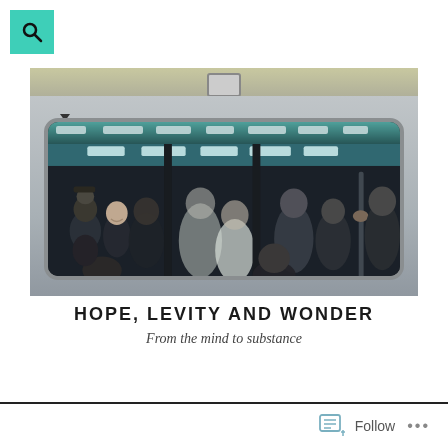[Figure (logo): Teal/turquoise square with magnifying glass search icon]
[Figure (photo): Photograph of a crowded subway/metro train car window showing many passengers standing inside, viewed from outside the train. The car has a silver metallic exterior with a large rounded-rectangle window divided by vertical bars. Interior ceiling lights are visible in teal/green tones.]
HOPE, LEVITY AND WONDER
From the mind to substance
Follow ...